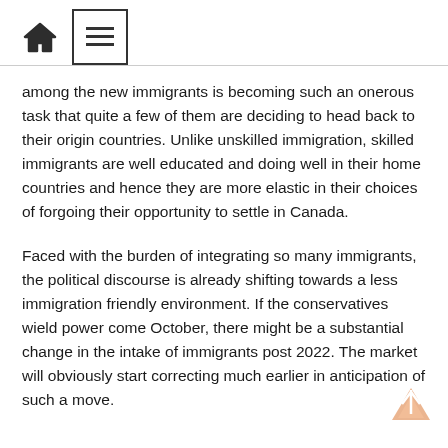Home | Menu
among the new immigrants is becoming such an onerous task that quite a few of them are deciding to head back to their origin countries. Unlike unskilled immigration, skilled immigrants are well educated and doing well in their home countries and hence they are more elastic in their choices of forgoing their opportunity to settle in Canada.
Faced with the burden of integrating so many immigrants, the political discourse is already shifting towards a less immigration friendly environment. If the conservatives wield power come October, there might be a substantial change in the intake of immigrants post 2022. The market will obviously start correcting much earlier in anticipation of such a move.